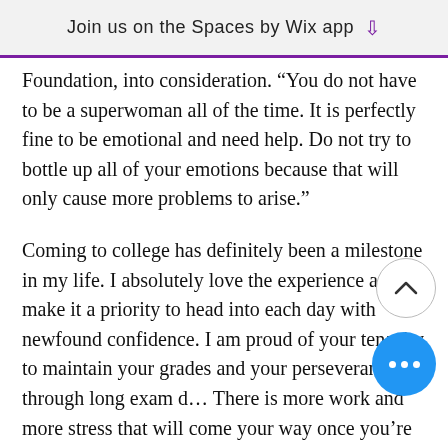Join us on the Spaces by Wix app
Foundation, into consideration. "You do not have to be a superwoman all of the time. It is perfectly fine to be emotional and need help. Do not try to bottle up all of your emotions because that will only cause more problems to arise."
Coming to college has definitely been a milestone in my life. I absolutely love the experience and I make it a priority to head into each day with newfound confidence. I am proud of your tenacity to maintain your grades and your perseverance through long exam d... There is more work and more stress that will come your way once you're in college, but the key is to find a bala... Find a balance that will make you feel